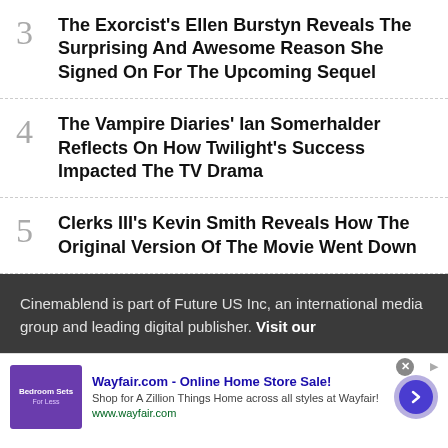3 The Exorcist's Ellen Burstyn Reveals The Surprising And Awesome Reason She Signed On For The Upcoming Sequel
4 The Vampire Diaries' Ian Somerhalder Reflects On How Twilight's Success Impacted The TV Drama
5 Clerks III's Kevin Smith Reveals How The Original Version Of The Movie Went Down
Cinemablend is part of Future US Inc, an international media group and leading digital publisher. Visit our
[Figure (screenshot): Wayfair.com advertisement banner with purple bedroom image, ad title 'Wayfair.com - Online Home Store Sale!', description 'Shop for A Zillion Things Home across all styles at Wayfair!', URL www.wayfair.com, close button, and blue arrow circle button]